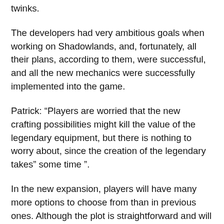twinks.
The developers had very ambitious goals when working on Shadowlands, and, fortunately, all their plans, according to them, were successful, and all the new mechanics were successfully implemented into the game.
Patrick: “Players are worried that the new crafting possibilities might kill the value of the legendary equipment, but there is nothing to worry about, since the creation of the legendary takes” some time ”.
In the new expansion, players will have many more options to choose from than in previous ones. Although the plot is straightforward and will introduce you to new territories, after completing it, you will have a choice of covenants, which are very different from each other and bring variety to the gameplay.